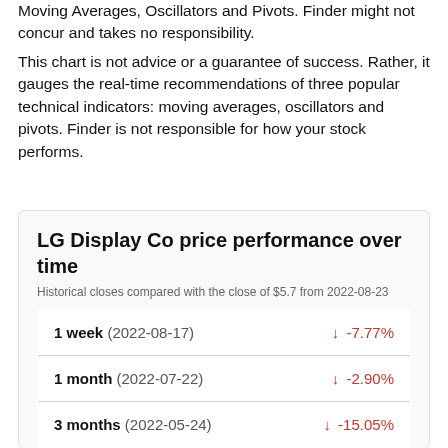Moving Averages, Oscillators and Pivots. Finder might not concur and takes no responsibility.
This chart is not advice or a guarantee of success. Rather, it gauges the real-time recommendations of three popular technical indicators: moving averages, oscillators and pivots. Finder is not responsible for how your stock performs.
LG Display Co price performance over time
Historical closes compared with the close of $5.7 from 2022-08-23
| Period | Change |
| --- | --- |
| 1 week (2022-08-17) | ↓ -7.77% |
| 1 month (2022-07-22) | ↓ -2.90% |
| 3 months (2022-05-24) | ↓ -15.05% |